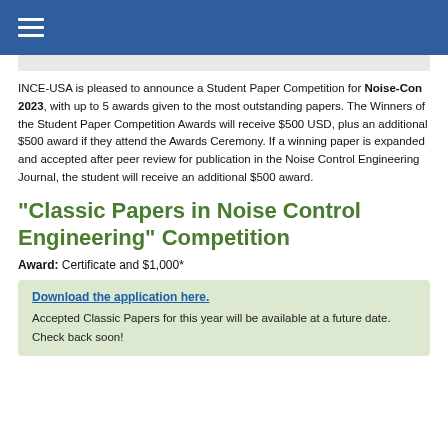Navigation menu header bar
INCE-USA is pleased to announce a Student Paper Competition for Noise-Con 2023, with up to 5 awards given to the most outstanding papers. The Winners of the Student Paper Competition Awards will receive $500 USD, plus an additional $500 award if they attend the Awards Ceremony. If a winning paper is expanded and accepted after peer review for publication in the Noise Control Engineering Journal, the student will receive an additional $500 award.
"Classic Papers in Noise Control Engineering" Competition
Award: Certificate and $1,000*
Download the application here. Accepted Classic Papers for this year will be available at a future date. Check back soon!